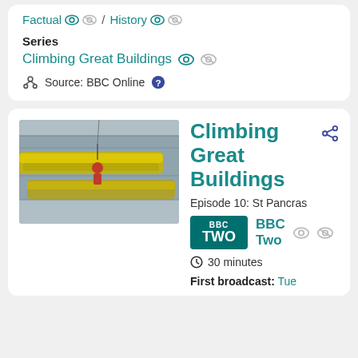Factual / History
Series
Climbing Great Buildings
Source: BBC Online
Climbing Great Buildings
Episode 10: St Pancras
BBC Two
30 minutes
First broadcast: Tue